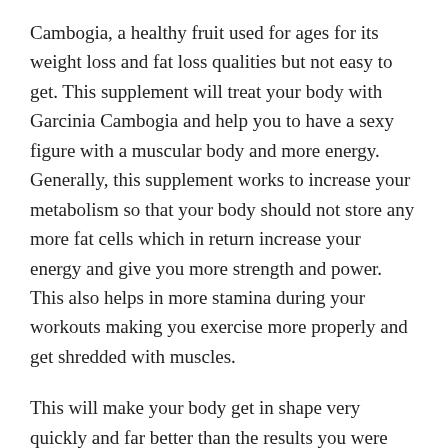Cambogia, a healthy fruit used for ages for its weight loss and fat loss qualities but not easy to get. This supplement will treat your body with Garcinia Cambogia and help you to have a sexy figure with a muscular body and more energy. Generally, this supplement works to increase your metabolism so that your body should not store any more fat cells which in return increase your energy and give you more strength and power. This also helps in more stamina during your workouts making you exercise more properly and get shredded with muscles.
This will make your body get in shape very quickly and far better than the results you were going to get from your ineffective or slow resulting workout and fat loss problem. The other reason for gaining more fat could be overeating and some people just can't control it. You need not completely cut your favorite food from the diet because Keto BHB Plus Reviews show that this supplement will